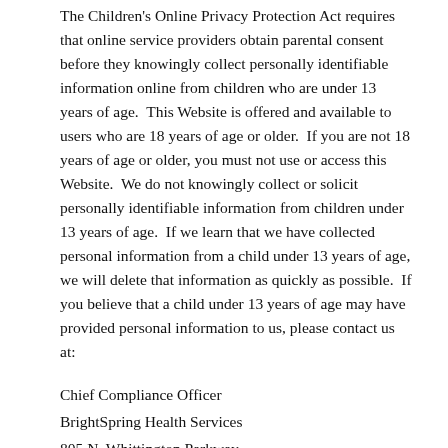The Children's Online Privacy Protection Act requires that online service providers obtain parental consent before they knowingly collect personally identifiable information online from children who are under 13 years of age.  This Website is offered and available to users who are 18 years of age or older.  If you are not 18 years of age or older, you must not use or access this Website.  We do not knowingly collect or solicit personally identifiable information from children under 13 years of age.  If we learn that we have collected personal information from a child under 13 years of age, we will delete that information as quickly as possible.  If you believe that a child under 13 years of age may have provided personal information to us, please contact us at:
Chief Compliance Officer
BrightSpring Health Services
805 N. Whittington Parkway
Louisville, Kentucky 40222